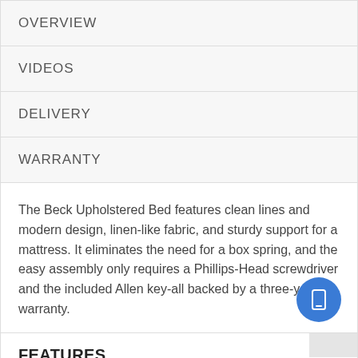OVERVIEW
VIDEOS
DELIVERY
WARRANTY
The Beck Upholstered Bed features clean lines and modern design, linen-like fabric, and sturdy support for a mattress. It eliminates the need for a box spring, and the easy assembly only requires a Phillips-Head screwdriver and the included Allen key-all backed by a three-year warranty.
FEATURES